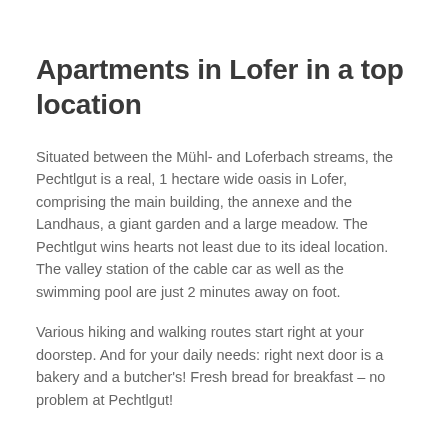Apartments in Lofer in a top location
Situated between the Mühl- and Loferbach streams, the Pechtlgut is a real, 1 hectare wide oasis in Lofer, comprising the main building, the annexe and the Landhaus, a giant garden and a large meadow. The Pechtlgut wins hearts not least due to its ideal location. The valley station of the cable car as well as the swimming pool are just 2 minutes away on foot.
Various hiking and walking routes start right at your doorstep. And for your daily needs: right next door is a bakery and a butcher's! Fresh bread for breakfast – no problem at Pechtlgut!